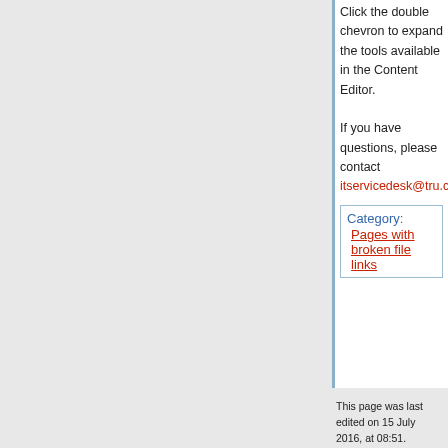Click the double chevron to expand the tools available in the Content Editor.
If you have questions, please contact itservicedesk@tru.ca.
Category:
Pages with broken file links
This page was last edited on 15 July 2016, at 08:51.
Content is available under Creative Commons Attribution Share Alike unless otherwise noted.
Privacy policy   About Kumu Wiki - TRU
Disclaimers
[Figure (logo): Creative Commons Attribution Share Alike logo placeholder image]
[Figure (logo): Powered by MediaWiki logo]